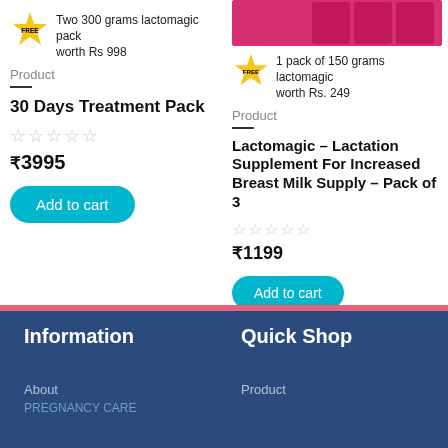[Figure (other): Product image strip at top right of the page showing lactomagic product packs in pink packaging]
FREE  Two 300 grams lactomagic pack worth Rs 998
Product
30 Days Treatment Pack
₹3995
Add to cart
FREE  1 pack of 150 grams lactomagic worth Rs. 249
Product
Lactomagic – Lactation Supplement For Increased Breast Milk Supply – Pack of 3
₹1199
Add to cart
Information
Quick Shop
About
PREGNANCY CARE
Product